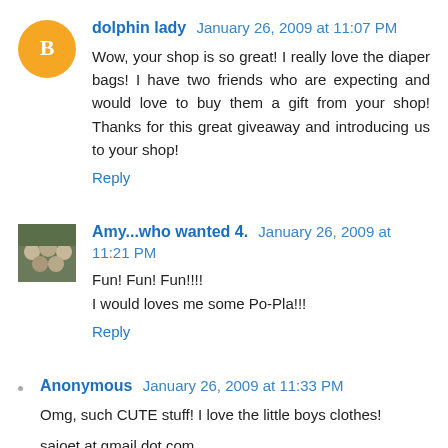dolphin lady January 26, 2009 at 11:07 PM
Wow, your shop is so great! I really love the diaper bags! I have two friends who are expecting and would love to buy them a gift from your shop! Thanks for this great giveaway and introducing us to your shop!
Reply
Amy...who wanted 4. January 26, 2009 at 11:21 PM
Fun! Fun! Fun!!!!
I would loves me some Po-Pla!!!
Reply
Anonymous January 26, 2009 at 11:33 PM
Omg, such CUTE stuff! I love the little boys clothes!
sajoet at gmail dot com